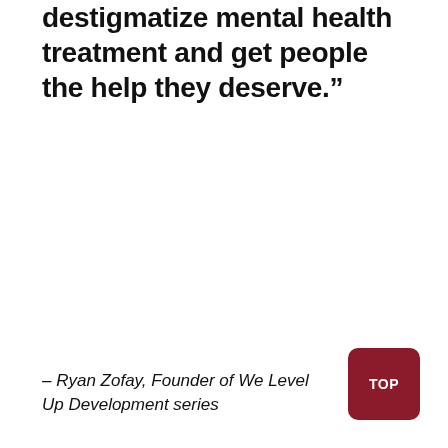destigmatize mental health treatment and get people the help they deserve.”
– Ryan Zofay, Founder of We Level Up Development series